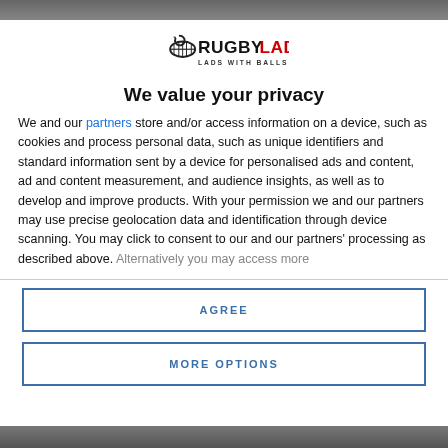[Figure (logo): RugbyLad - Lads With Balls logo with rugby ball icon]
We value your privacy
We and our partners store and/or access information on a device, such as cookies and process personal data, such as unique identifiers and standard information sent by a device for personalised ads and content, ad and content measurement, and audience insights, as well as to develop and improve products. With your permission we and our partners may use precise geolocation data and identification through device scanning. You may click to consent to our and our partners' processing as described above. Alternatively you may access more
AGREE
MORE OPTIONS